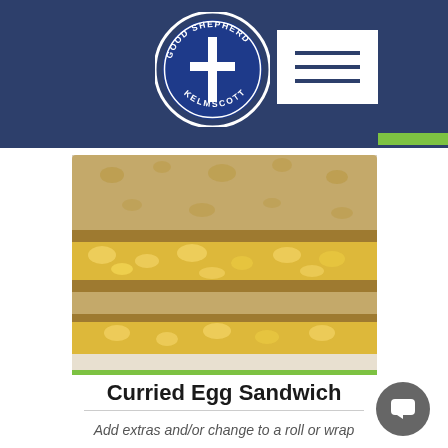Good Shepherd Kelmscott - navigation header with logo and hamburger menu
[Figure (photo): Close-up photo of a curried egg sandwich on wholegrain bread, showing layers of creamy yellow curried egg filling between slices of brown bread, served on a white plate]
Curried Egg Sandwich
Add extras and/or change to a roll or wrap